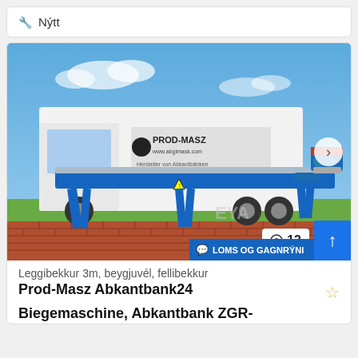🔧 Nýtt
[Figure (photo): A blue metal bending machine (Abkantbank) displayed outdoors on brick pavement in front of a white PROD-MASZ delivery truck. The machine is a long flat sheet metal folder/bending machine approximately 3 meters long, painted blue, with angular legs. The truck has 'PROD-MASZ' branding on its side.]
Leggibekkur 3m, beygjuvél, fellibekkur
Prod-Masz Abkantbank24 Biegemaschine, Abkantbank ZGR-
LOMS OG GAGNRÝNI